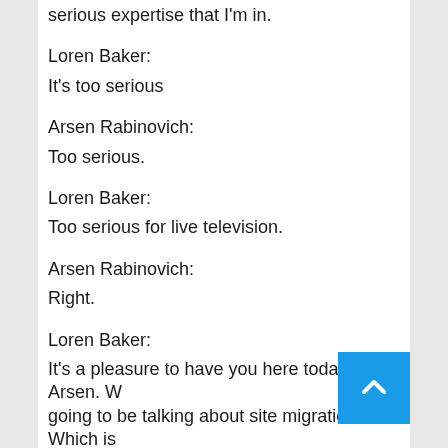serious expertise that I'm in.
Loren Baker:
It's too serious
Arsen Rabinovich:
Too serious.
Loren Baker:
Too serious for live television.
Arsen Rabinovich:
Right.
Loren Baker:
It's a pleasure to have you here today, Arsen. We going to be talking about site migrations. Which is